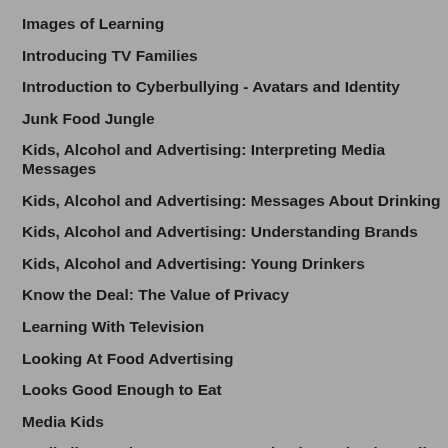Images of Learning
Introducing TV Families
Introduction to Cyberbullying - Avatars and Identity
Junk Food Jungle
Kids, Alcohol and Advertising: Interpreting Media Messages
Kids, Alcohol and Advertising: Messages About Drinking
Kids, Alcohol and Advertising: Understanding Brands
Kids, Alcohol and Advertising: Young Drinkers
Know the Deal: The Value of Privacy
Learning With Television
Looking At Food Advertising
Looks Good Enough to Eat
Media Kids
Media literacy key concepts Introduction: What is media anyway?